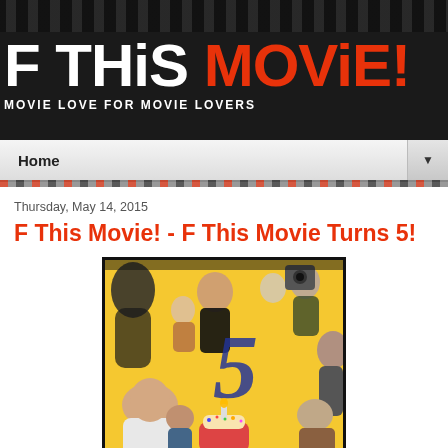F THIS MOVIE! — MOVIE LOVE FOR MOVIE LOVERS
Home
Thursday, May 14, 2015
F This Movie! - F This Movie Turns 5!
[Figure (photo): Collage of movie characters and people surrounding a large number 5 with a birthday cupcake at the bottom center, on a yellow background]